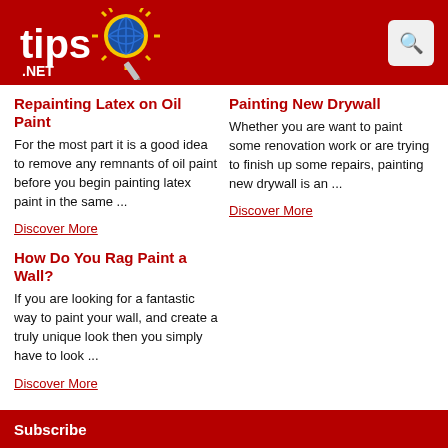[Figure (logo): Tips.net logo with sun graphic on red header background]
Repainting Latex on Oil Paint
For the most part it is a good idea to remove any remnants of oil paint before you begin painting latex paint in the same ...
Discover More
Painting New Drywall
Whether you are want to paint some renovation work or are trying to finish up some repairs, painting new drywall is an ...
Discover More
How Do You Rag Paint a Wall?
If you are looking for a fantastic way to paint your wall, and create a truly unique look then you simply have to look ...
Discover More
Subscribe